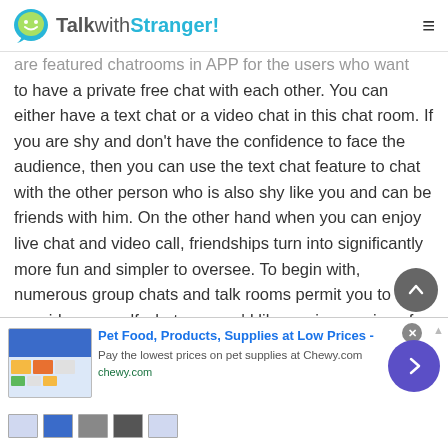TalkwithStranger!
are featured chatrooms in APP for the users who want to have a private free chat with each other. You can either have a text chat or a video chat in this chat room. If you are shy and don't have the confidence to face the audience, then you can use the text chat feature to chat with the other person who is also shy like you and can be friends with him. On the other hand when you can enjoy live chat and video call, friendships turn into significantly more fun and simpler to oversee. To begin with, numerous group chats and talk rooms permit you to consider yourself whatever you'd like, an impression of the bigger thought that on the web you can be whomever you need to be.
[Figure (screenshot): Advertisement banner for Chewy.com - Pet Food, Products, Supplies at Low Prices. Shows product images, a CTA button, and thumbnail images at the bottom.]